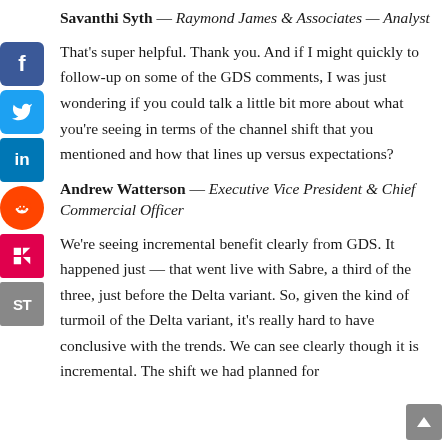Savanthi Syth — Raymond James & Associates — Analyst
That's super helpful. Thank you. And if I might quickly to follow-up on some of the GDS comments, I was just wondering if you could talk a little bit more about what you're seeing in terms of the channel shift that you mentioned and how that lines up versus expectations?
Andrew Watterson — Executive Vice President & Chief Commercial Officer
We're seeing incremental benefit clearly from GDS. It happened just — that went live with Sabre, a third of the three, just before the Delta variant. So, given the kind of turmoil of the Delta variant, it's really hard to have conclusive with the trends. We can see clearly though it is incremental. The shift we had planned for